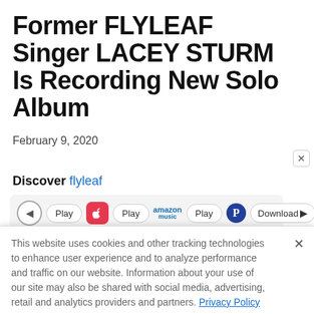Former FLYLEAF Singer LACEY STURM Is Recording New Solo Album
February 9, 2020
Discover flyleaf
[Figure (screenshot): Music player bar with play controls, Apple Music, Amazon Music, Pandora icons and Download button]
This website uses cookies and other tracking technologies to enhance user experience and to analyze performance and traffic on our website. Information about your use of our site may also be shared with social media, advertising, retail and analytics providers and partners. Privacy Policy
[Figure (photo): Ad banner for At The Gates concert - August 29, The Fillmore Silver Spring]